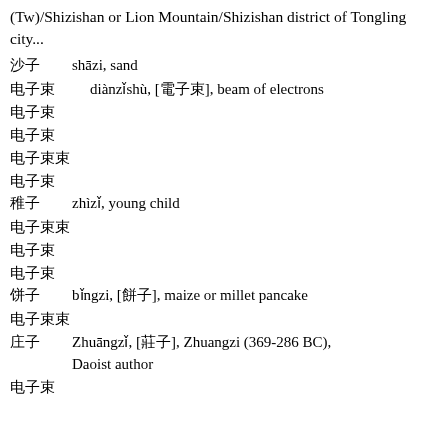(Tw)/Shizishan or Lion Mountain/Shizishan district of Tongling city...
沙子　　shāzi, sand
电子束　　diànzǐshù, [電子束], beam of electrons
电子束
电子束
电子束束
电子束
稚子　　zhìzǐ, young child
电子束束
电子束
电子束
饼子　　bǐngzi, [餅子], maize or millet pancake
电子束束
庄子　　Zhuāngzǐ, [莊子], Zhuangzi (369-286 BC), Daoist author
电子束